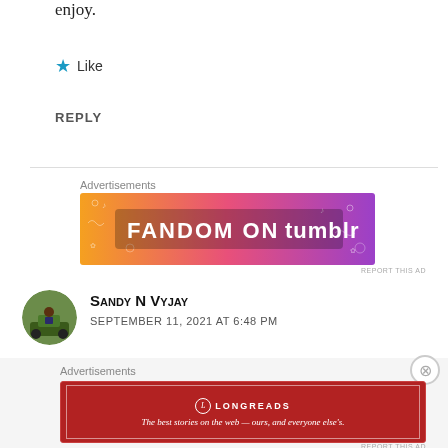enjoy.
★ Like
REPLY
[Figure (illustration): Fandom on Tumblr advertisement banner with orange-to-purple gradient background and decorative doodles]
REPORT THIS AD
Sandy N Vyjay
SEPTEMBER 11, 2021 AT 6:48 PM
[Figure (illustration): Longreads advertisement: dark red background with Longreads logo and tagline 'The best stories on the web — ours, and everyone else's.']
REPORT THIS AD